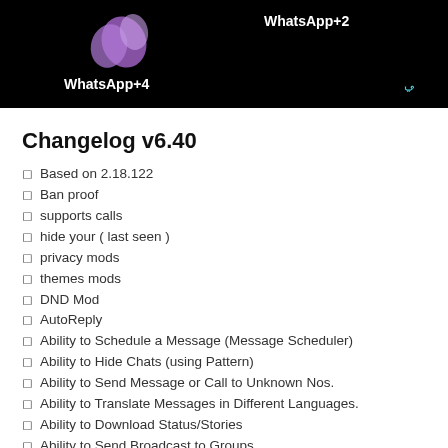[Figure (screenshot): Dark banner with WhatsApp logo/icon (purple butterfly-like icon), text 'WhatsApp+2' on right top, 'WhatsApp+4' on left bottom, and Arabic text 'نسخة ابوصدام الرفاعي' on right bottom in cyan color.]
Changelog v6.40
Based on 2.18.122
Ban proof
supports calls
hide your ( last seen )
privacy mods
themes mods
DND Mod
AutoReply
Ability to Schedule a Message (Message Scheduler)
Ability to Hide Chats (using Pattern)
Ability to Send Message or Call to Unknown Nos.
Ability to Translate Messages in Different Languages.
Ability to Download Status/Stories
Ability to Send Broadcast to Groups